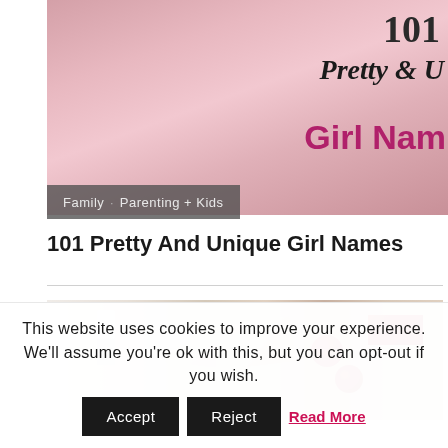[Figure (photo): Baby wrapped in pink blanket with text overlay reading '101 Pretty & Girl Nam...' (girl names promotional image)]
Family  Parenting + Kids
101 Pretty And Unique Girl Names
[Figure (photo): Flat lay photo of cosmetics and beauty items on a light surface including red round objects, a box, a card, and red packaging]
This website uses cookies to improve your experience. We'll assume you're ok with this, but you can opt-out if you wish.  Accept  Reject  Read More